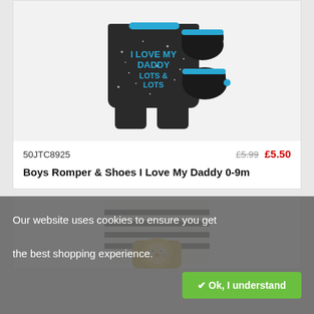[Figure (photo): Boys romper with 'I Love My Daddy Lots & Lots' text and matching dark shoes with blue trim on a light grey background]
50JTC8925
£5.99 £5.50
Boys Romper & Shoes I Love My Daddy 0-9m
[Figure (photo): Boys striped romper with lion face applique detail, partially visible]
Our website uses cookies to ensure you get the best shopping experience.
✔ Ok, I understand